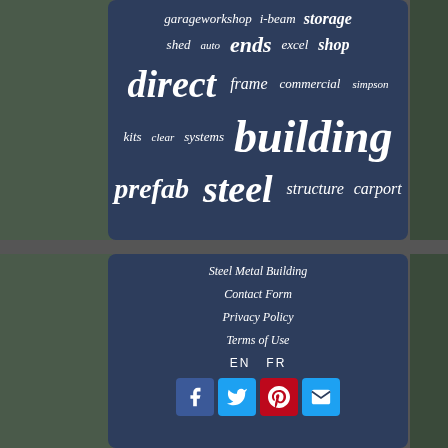[Figure (infographic): Word tag cloud on dark navy background with steel building related keywords in varying sizes: garageworkshop, i-beam, storage, shed, auto, ends, excel, shop, direct, frame, commercial, simpson, kits, clear, systems, building, prefab, steel, structure, carport]
Steel Metal Building
Contact Form
Privacy Policy
Terms of Use
EN   FR